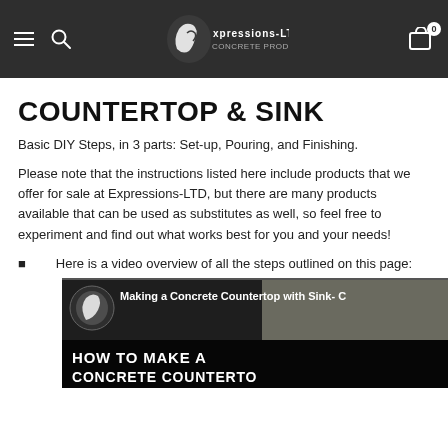Expressions-LTD navigation bar with hamburger menu, search icon, logo, and cart with 0 items
COUNTERTOP & SINK
Basic DIY Steps, in 3 parts: Set-up, Pouring, and Finishing.
Please note that the instructions listed here include products that we offer for sale at Expressions-LTD, but there are many products available that can be used as substitutes as well, so feel free to experiment and find out what works best for you and your needs!
Here is a video overview of all the steps outlined on this page:
[Figure (screenshot): Video thumbnail for 'Making a Concrete Countertop with Sink' showing concrete and text 'HOW TO MAKE A CONCRETE COUNTERTO']